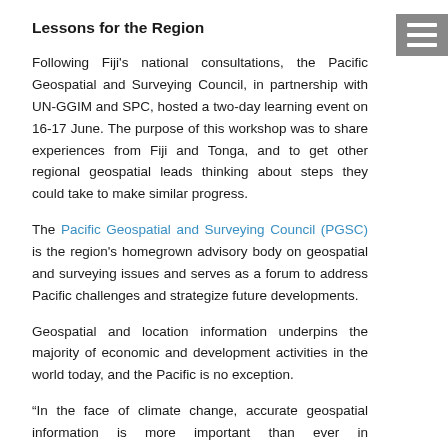Lessons for the Region
Following Fiji's national consultations, the Pacific Geospatial and Surveying Council, in partnership with UN-GGIM and SPC, hosted a two-day learning event on 16-17 June. The purpose of this workshop was to share experiences from Fiji and Tonga, and to get other regional geospatial leads thinking about steps they could take to make similar progress.
The Pacific Geospatial and Surveying Council (PGSC) is the region's homegrown advisory body on geospatial and surveying issues and serves as a forum to address Pacific challenges and strategize future developments.
Geospatial and location information underpins the majority of economic and development activities in the world today, and the Pacific is no exception.
“In the face of climate change, accurate geospatial information is more important than ever in understanding risks to critical infrastructure and planning for the future,” said PGSC Chair and CEO of Tonga’s Ministry of Lands and Natural Resources, Ms